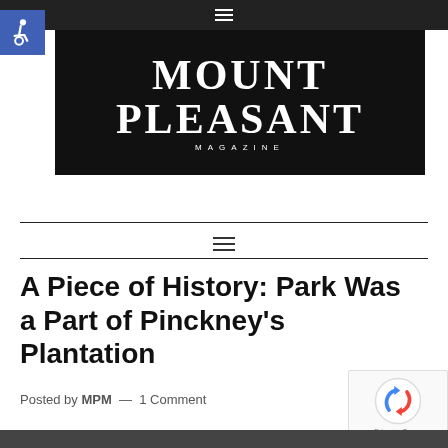≡
[Figure (logo): Mount Pleasant Magazine logo — white serif text on black background reading MOUNT PLEASANT with MAGAZINE below]
[Figure (other): Hamburger menu icon between two horizontal divider lines]
A Piece of History: Park Was a Part of Pinckney's Plantation
Posted by MPM — 1 Comment
[Figure (photo): Partial view of a photo strip at the bottom of the page]